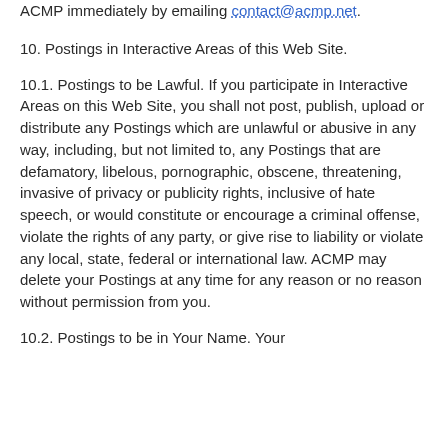ACMP immediately by emailing contact@acmp.net.
10. Postings in Interactive Areas of this Web Site.
10.1. Postings to be Lawful. If you participate in Interactive Areas on this Web Site, you shall not post, publish, upload or distribute any Postings which are unlawful or abusive in any way, including, but not limited to, any Postings that are defamatory, libelous, pornographic, obscene, threatening, invasive of privacy or publicity rights, inclusive of hate speech, or would constitute or encourage a criminal offense, violate the rights of any party, or give rise to liability or violate any local, state, federal or international law. ACMP may delete your Postings at any time for any reason or no reason without permission from you.
10.2. Postings to be in Your Name. Your